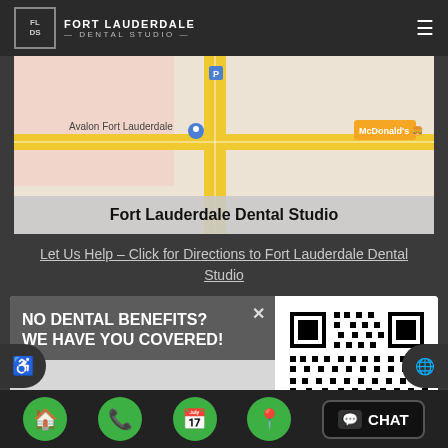Fort Lauderdale Dental Studio
[Figure (map): Google Maps embed showing location of Fort Lauderdale Dental Studio near Avalon Fort Lauderdale and McDonald's]
Fort Lauderdale Dental Studio
Let Us Help – Click for Directions to Fort Lauderdale Dental Studio
[Figure (infographic): Popup modal with text 'NO DENTAL BENEFITS? WE HAVE YOU COVERED!' and 'Join Our Membership Plan!' with a green LEARN MORE button and a QR code on the right side]
Navigation bar with home, phone, calendar, location, and CHAT buttons